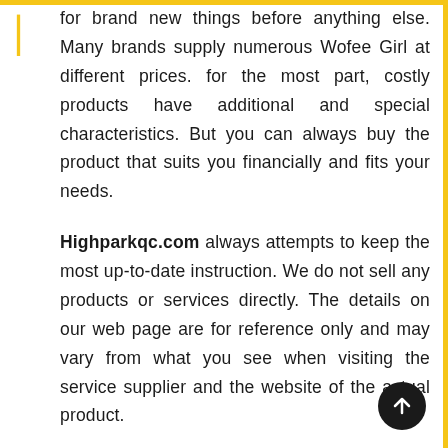for brand new things before anything else. Many brands supply numerous Wofee Girl at different prices. for the most part, costly products have additional and special characteristics. But you can always buy the product that suits you financially and fits your needs.
Highparkqc.com always attempts to keep the most up-to-date instruction. We do not sell any products or services directly. The details on our web page are for reference only and may vary from what you see when visiting the service supplier and the website of the actual product.
Highparkqc.com is a participant in the Amazon Services LLC Associates Program, an affiliate